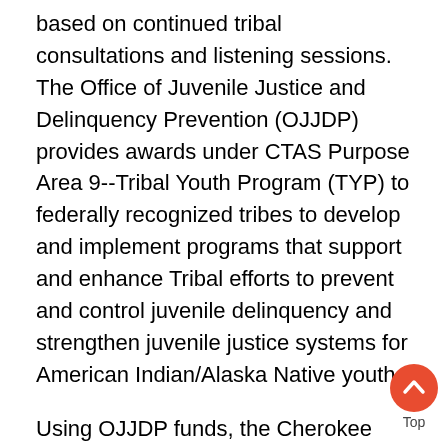based on continued tribal consultations and listening sessions. The Office of Juvenile Justice and Delinquency Prevention (OJJDP) provides awards under CTAS Purpose Area 9--Tribal Youth Program (TYP) to federally recognized tribes to develop and implement programs that support and enhance Tribal efforts to prevent and control juvenile delinquency and strengthen juvenile justice systems for American Indian/Alaska Native youth.
Using OJJDP funds, the Cherokee Nation will implement the Tribal Youth Delinquency Reduction Program (TYDRP). The TYDRP's intention is to address risk factors and guide youth away from engaging in delinquent behaviors. The overall goals are to keep youth in school, prevent them from entering into the juvenile justice system and to intervene with offer